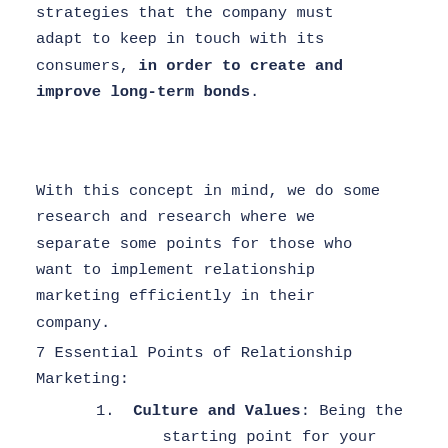strategies that the company must adapt to keep in touch with its consumers, in order to create and improve long-term bonds.
With this concept in mind, we do some research and research where we separate some points for those who want to implement relationship marketing efficiently in their company.
7 Essential Points of Relationship Marketing:
Culture and Values: Being the starting point for your